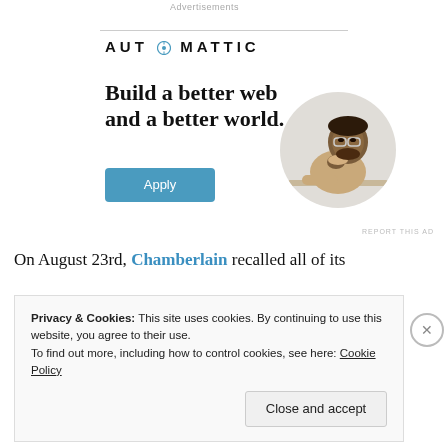Advertisements
[Figure (logo): Automattic logo with circular icon replacing the 'O' in AUTOMATTIC]
Build a better web and a better world.
[Figure (photo): Circular cropped photo of a man in a beige shirt, resting chin on hand, looking upward thoughtfully, seated at a desk]
Apply
REPORT THIS AD
On August 23rd, Chamberlain recalled all of its
Privacy & Cookies: This site uses cookies. By continuing to use this website, you agree to their use.
To find out more, including how to control cookies, see here: Cookie Policy
Close and accept